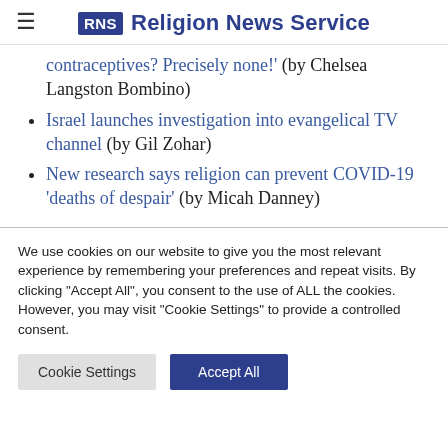RNS Religion News Service
contraceptives? Precisely none!' (by Chelsea Langston Bombino)
Israel launches investigation into evangelical TV channel (by Gil Zohar)
New research says religion can prevent COVID-19 'deaths of despair' (by Micah Danney)
We use cookies on our website to give you the most relevant experience by remembering your preferences and repeat visits. By clicking "Accept All", you consent to the use of ALL the cookies. However, you may visit "Cookie Settings" to provide a controlled consent.